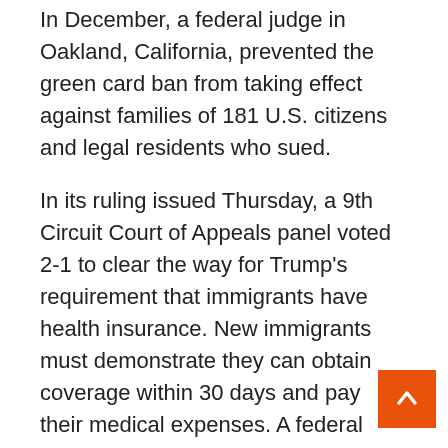In December, a federal judge in Oakland, California, prevented the green card ban from taking effect against families of 181 U.S. citizens and legal residents who sued.
In its ruling issued Thursday, a 9th Circuit Court of Appeals panel voted 2-1 to clear the way for Trump’s requirement that immigrants have health insurance. New immigrants must demonstrate they can obtain coverage within 30 days and pay their medical expenses. A federal judge blocked the rule from taking effect almost immediately after it was announced in October 2019.
Judge Daniel P. Collins, a Trump appointee, wrote that the president acted within his authority, relying largely on the Supreme Court’s ruling that upheld Trump’s travel ban on several predominantly Muslim countries.